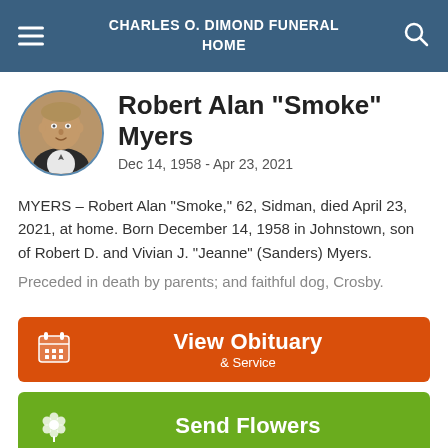CHARLES O. DIMOND FUNERAL HOME
Robert Alan "Smoke" Myers
Dec 14, 1958 - Apr 23, 2021
MYERS – Robert Alan “Smoke,” 62, Sidman, died April 23, 2021, at home. Born December 14, 1958 in Johnstown, son of Robert D. and Vivian J. “Jeanne” (Sanders) Myers.
Preceded in death by parents; and faithful dog, Crosby.
View Obituary & Service
Send Flowers